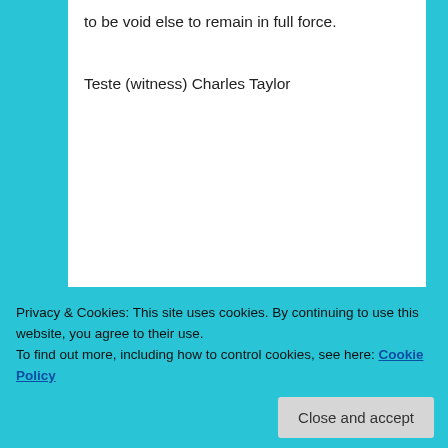to be void else to remain in full force.
Teste (witness) Charles Taylor
As you can see in the actual signatures below, it does not appear that the signatures were signed by the clerk,
Privacy & Cookies: This site uses cookies. By continuing to use this website, you agree to their use.
To find out more, including how to control cookies, see here: Cookie Policy
[Figure (photo): Handwritten cursive text on aged document paper, partially visible at bottom of page]